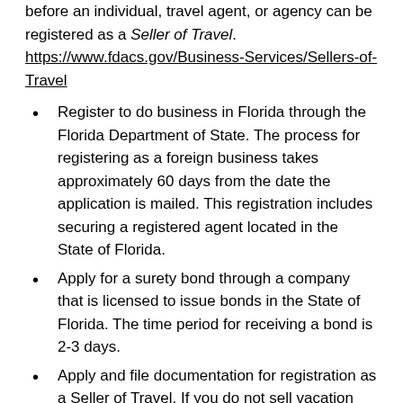before an individual, travel agent, or agency can be registered as a Seller of Travel. https://www.fdacs.gov/Business-Services/Sellers-of-Travel
Register to do business in Florida through the Florida Department of State. The process for registering as a foreign business takes approximately 60 days from the date the application is mailed. This registration includes securing a registered agent located in the State of Florida.
Apply for a surety bond through a company that is licensed to issue bonds in the State of Florida. The time period for receiving a bond is 2-3 days.
Apply and file documentation for registration as a Seller of Travel. If you do not sell vacation certificates